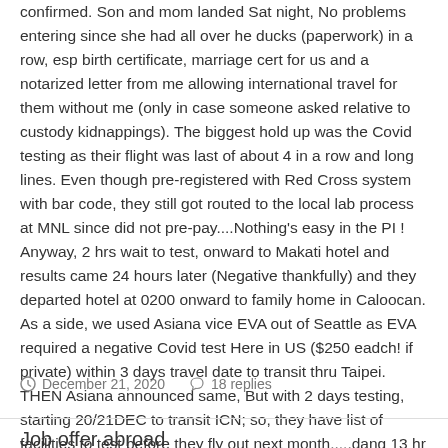confirmed. Son and mom landed Sat night, No problems entering since she had all over he ducks (paperwork) in a row, esp birth certificate, marriage cert for us and a notarized letter from me allowing international travel for them without me (only in case someone asked relative to custody kidnappings). The biggest hold up was the Covid testing as their flight was last of about 4 in a row and long lines. Even though pre-registered with Red Cross system with bar code, they still got routed to the local lab process at MNL since did not pre-pay....Nothing's easy in the PI ! Anyway, 2 hrs wait to test, onward to Makati hotel and results came 24 hours later (Negative thankfully) and they departed hotel at 0200 onward to family home in Caloocan. As a side, we used Asiana vice EVA out of Seattle as EVA required a negative Covid test Here in US ($250 eadch! if private) within 3 days travel date to transit thru Taipei. THEN Asiana announced same, But with 2 days testing, starting 20/21DEC to transit ICN; so, they have list of facilities to test before they fly out next month.....dang 13 hr layover in ICN on return.
December 21, 2020   18 replies
Job offer abroad